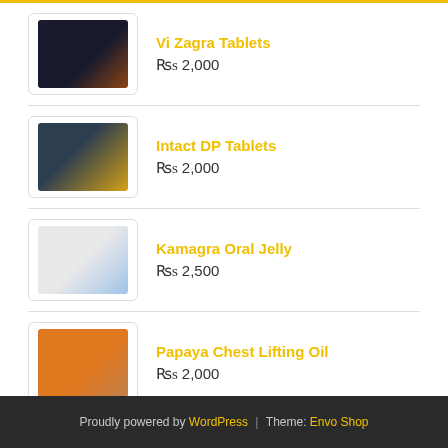Vi Zagra Tablets — Rs 2,000
Intact DP Tablets — Rs 2,000
Kamagra Oral Jelly — Rs 2,500
Papaya Chest Lifting Oil — Rs 2,000
Bio Beauty Firming Cream — Rs 2,000
Proudly powered by WordPress | Theme: Envo Shop